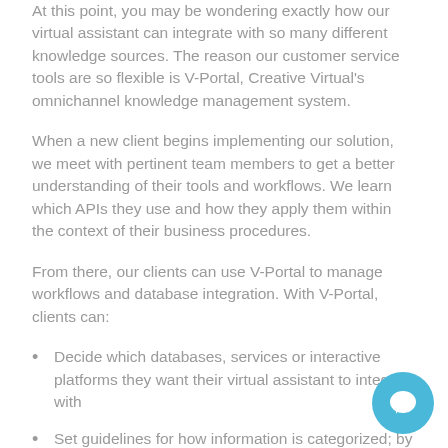At this point, you may be wondering exactly how our virtual assistant can integrate with so many different knowledge sources. The reason our customer service tools are so flexible is V-Portal, Creative Virtual's omnichannel knowledge management system.
When a new client begins implementing our solution, we meet with pertinent team members to get a better understanding of their tools and workflows. We learn which APIs they use and how they apply them within the context of their business procedures.
From there, our clients can use V-Portal to manage workflows and database integration. With V-Portal, clients can:
Decide which databases, services or interactive platforms they want their virtual assistant to integrate with
Set guidelines for how information is categorized; by